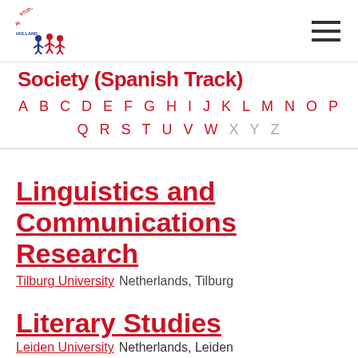[Figure (logo): Study in Holland logo with red and blue figures]
Society (Spanish Track)
A B C D E F G H I J K L M N O P
Q R S T U V W X Y Z
Linguistics and Communications Research
Tilburg University Netherlands, Tilburg
Literary Studies
Leiden University Netherlands, Leiden